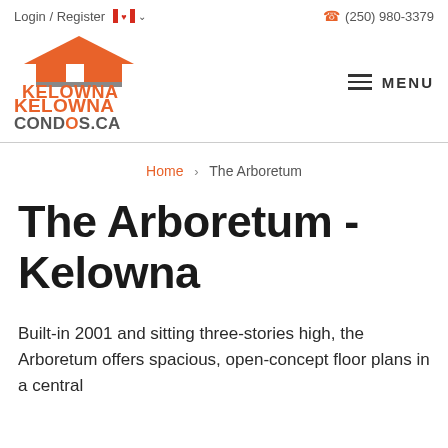Login / Register   (250) 980-3379
[Figure (logo): KelownaCONDOS.CA logo with house icon in orange and grey]
Home > The Arboretum
The Arboretum - Kelowna
Built-in 2001 and sitting three-stories high, the Arboretum offers spacious, open-concept floor plans in a central